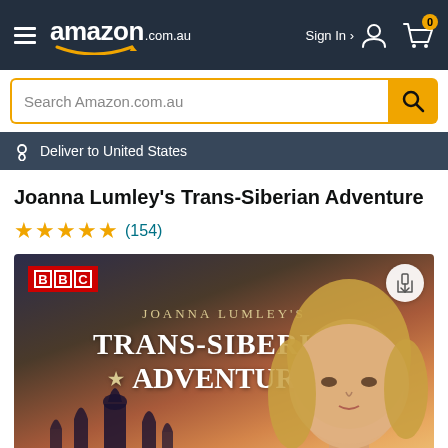amazon.com.au — Sign In — Cart (0)
Search Amazon.com.au
Deliver to United States
Joanna Lumley's Trans-Siberian Adventure
★★★★★ (154)
[Figure (photo): BBC product cover image for 'Joanna Lumley's Trans-Siberian Adventure' showing the BBC logo, title text over a gradient background with Russian church architecture silhouette and a blonde woman's face.]